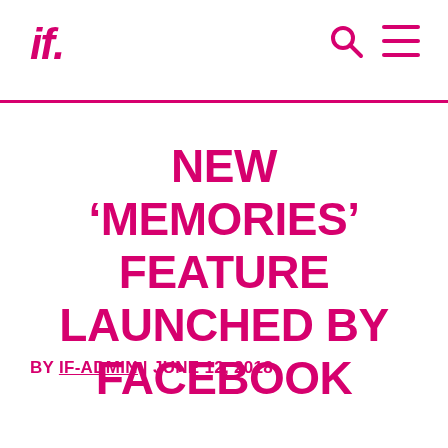if.
NEW ‘MEMORIES’ FEATURE LAUNCHED BY FACEBOOK
BY IF-ADMIN | JUNE 12, 2018